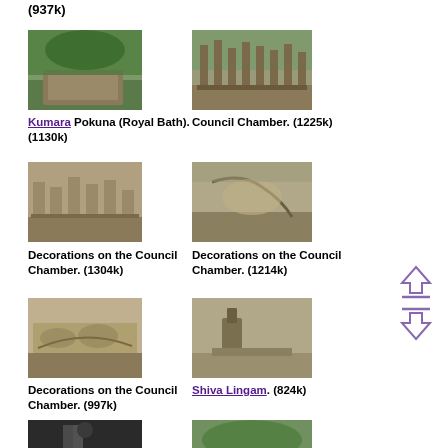(937k)
[Figure (photo): Kumara Pokuna (Royal Bath) - stone pool with trees in background]
Kumara Pokuna (Royal Bath). (1130k)
[Figure (photo): Council Chamber - ancient stone ruins with pillars]
Council Chamber. (1225k)
[Figure (photo): Decorations on the Council Chamber - stone carvings]
Decorations on the Council Chamber. (1304k)
[Figure (photo): Decorations on the Council Chamber - stone carvings close-up]
Decorations on the Council Chamber. (1214k)
[Figure (photo): Decorations on the Council Chamber - stone relief carvings]
Decorations on the Council Chamber. (997k)
[Figure (photo): Shiva Lingam - stone artifact on platform]
Shiva Lingam. (824k)
[Figure (photo): Dark interior photo with stone statue]
[Figure (photo): Outdoor ruins with trees]
[Figure (infographic): Navigation arrows: up and down]